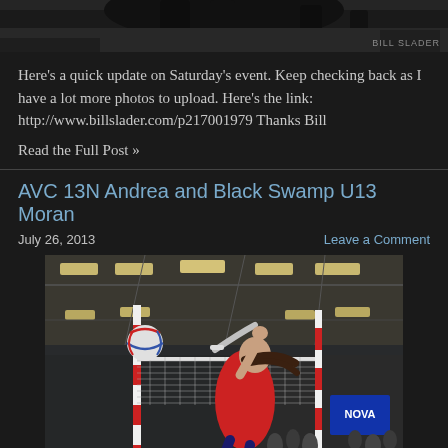[Figure (photo): Top strip showing a cropped action photo of a volleyball player in black, with 'BILL SLADER' watermark at bottom right]
Here's a quick update on Saturday's event. Keep checking back as I have a lot more photos to upload. Here's the link: http://www.billslader.com/p217001979 Thanks Bill
Read the Full Post »
AVC 13N Andrea and Black Swamp U13 Moran
July 26, 2013
Leave a Comment
[Figure (photo): Indoor volleyball action photo showing a player in red jersey leaping to spike the ball over the net, with a red and white pole visible, gymnasium ceiling lights, and crowd in background]